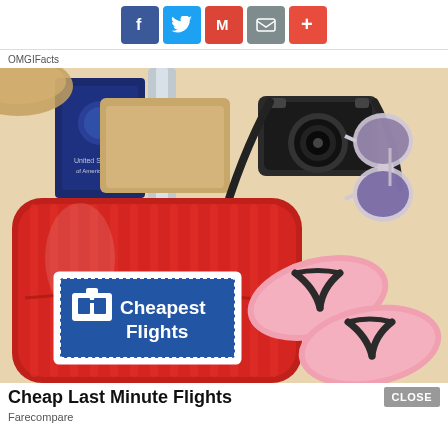[Figure (illustration): Social sharing buttons row: Facebook (blue), Twitter (light blue), Gmail (red M), Email (grey envelope), Plus (orange-red +)]
OMGIFacts
[Figure (photo): Travel flat-lay photo showing a red hard-shell suitcase with a 'Cheapest Flights' stamp label, a US passport, a silver rolling suitcase handle, a black camera with strap, sunglasses, and pink flip-flop sandals on a beige background]
Cheap Last Minute Flights
Farecompare